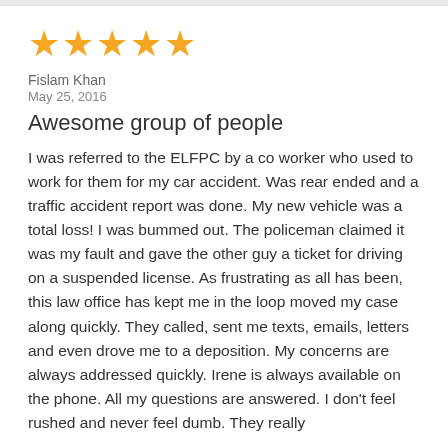[Figure (other): Five gold star rating icons]
Fislam Khan
May 25, 2016
Awesome group of people
I was referred to the ELFPC by a co worker who used to work for them for my car accident. Was rear ended and a traffic accident report was done. My new vehicle was a total loss! I was bummed out. The policeman claimed it was my fault and gave the other guy a ticket for driving on a suspended license. As frustrating as all has been, this law office has kept me in the loop moved my case along quickly. They called, sent me texts, emails, letters and even drove me to a deposition. My concerns are always addressed quickly. Irene is always available on the phone. All my questions are answered. I don't feel rushed and never feel dumb. They really